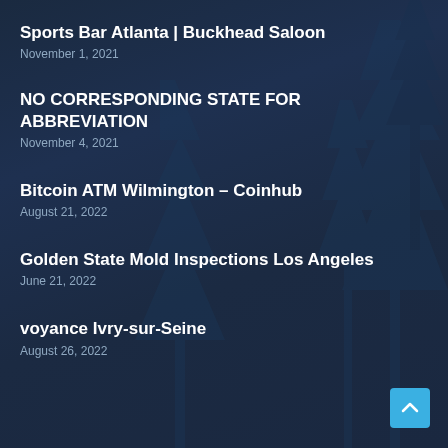Sports Bar Atlanta | Buckhead Saloon
November 1, 2021
NO CORRESPONDING STATE FOR ABBREVIATION
November 4, 2021
Bitcoin ATM Wilmington – Coinhub
August 21, 2022
Golden State Mold Inspections Los Angeles
June 21, 2022
voyance Ivry-sur-Seine
August 26, 2022